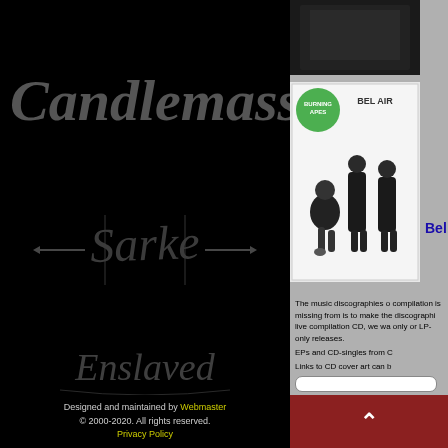[Figure (screenshot): Black background left panel with decorative band logos: Candlemass in gothic lettering at top, ornate Sarke-style logo in center, Enslaved-style Cyrillic-looking logo at bottom]
[Figure (photo): Dark album cover thumbnail at top right]
[Figure (photo): Album cover for Bel Air showing three people posing, with a green circular label in top left corner]
Bel
The music discographies o compilation is missing from is to make the discographi live compilation CD, we wa only or LP-only releases.
EPs and CD-singles from C
Links to CD cover art can b
Designed and maintained by Webmaster © 2000-2020. All rights reserved. Privacy Policy